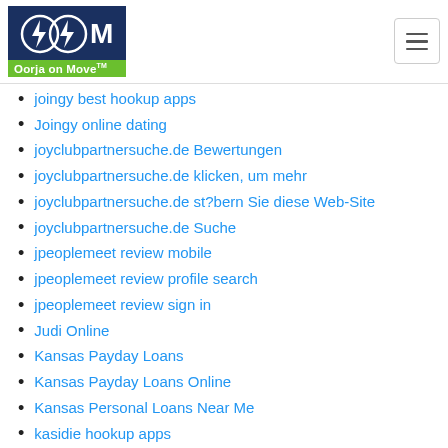[Figure (logo): Oorja on Move logo with lightning bolt icons on dark blue background and green banner]
joingy best hookup apps
Joingy online dating
joyclubpartnersuche.de Bewertungen
joyclubpartnersuche.de klicken, um mehr
joyclubpartnersuche.de st?bern Sie diese Web-Site
joyclubpartnersuche.de Suche
jpeoplemeet review mobile
jpeoplemeet review profile search
jpeoplemeet review sign in
Judi Online
Kansas Payday Loans
Kansas Payday Loans Online
Kansas Personal Loans Near Me
kasidie hookup apps
kasidie reviews
Kentucky Payday Loans